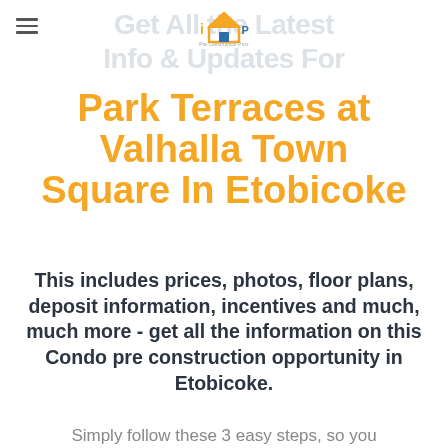[Figure (logo): Pre Construction Pros logo with house icon]
Get All the Latest Info & Updates For Park Terraces at Valhalla Town Square In Etobicoke
This includes prices, photos, floor plans, deposit information, incentives and much, much more - get all the information on this Condo pre construction opportunity in Etobicoke.
Simply follow these 3 easy steps, so you